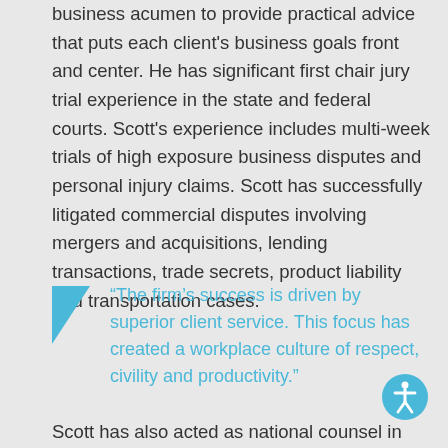business acumen to provide practical advice that puts each client's business goals front and center. He has significant first chair jury trial experience in the state and federal courts. Scott's experience includes multi-week trials of high exposure business disputes and personal injury claims. Scott has successfully litigated commercial disputes involving mergers and acquisitions, lending transactions, trade secrets, product liability and transportation cases.
“The firm’s success is driven by superior client service. This focus has created a workplace culture of respect, civility and productivity.”
Scott has also acted as national counsel in the